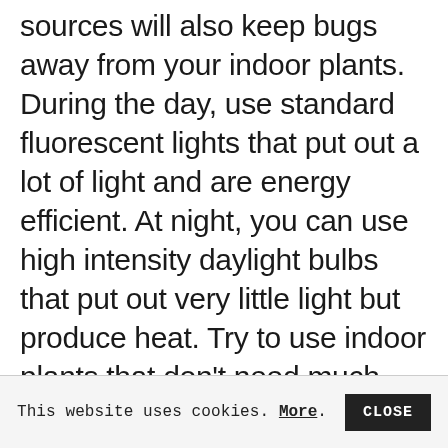sources will also keep bugs away from your indoor plants. During the day, use standard fluorescent lights that put out a lot of light and are energy efficient. At night, you can use high intensity daylight bulbs that put out very little light but produce heat. Try to use indoor plants that don't need much heat to flourish, since they won't be subjected to day/night cycles anyway.
This website uses cookies. More. CLOSE